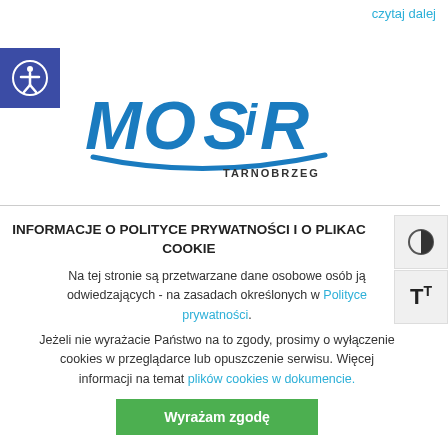czytaj dalej
[Figure (logo): MOSiR Tarnobrzeg logo - blue letters MOSIR with arc underline and TARNOBRZEG text]
INFORMACJE O POLITYCE PRYWATNOŚCI I O PLIKACH COOKIE
Na tej stronie są przetwarzane dane osobowe osób ją odwiedzających - na zasadach określonych w Polityce prywatności.
Jeżeli nie wyrażacie Państwo na to zgody, prosimy o wyłączenie cookies w przeglądarce lub opuszczenie serwisu. Więcej informacji na temat plików cookies w dokumencie.
Wyrażam zgodę